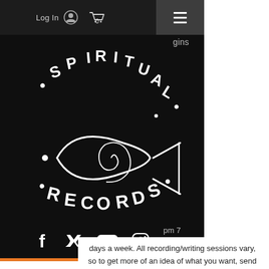Log In  0  ☰
gins
[Figure (logo): Spiritual Records logo: white hand-drawn text 'SPIRITUAL' arched above and 'RECORDS' arched below a white hand-drawn ichthys (fish) symbol with a spiral inside it and a stylized cross tail, all on black background]
[Figure (infographic): Social media icons row: Facebook, Twitter, YouTube, Instagram icons in white on black background]
pm 7
days a week. All recording/writing sessions vary, so to get more of an idea of what you want, send an email to Jack who will be able to give you an estimated quote. Any form of demo recording is